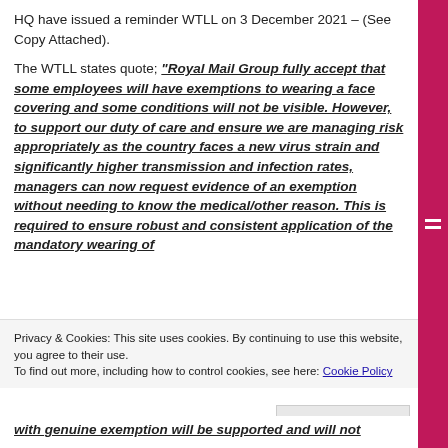HQ have issued a reminder WTLL on 3 December 2021 – (See Copy Attached).
The WTLL states quote; “Royal Mail Group fully accept that some employees will have exemptions to wearing a face covering and some conditions will not be visible. However, to support our duty of care and ensure we are managing risk appropriately as the country faces a new virus strain and significantly higher transmission and infection rates, managers can now request evidence of an exemption without needing to know the medical/other reason. This is required to ensure robust and consistent application of the mandatory wearing of
Privacy & Cookies: This site uses cookies. By continuing to use this website, you agree to their use.
To find out more, including how to control cookies, see here: Cookie Policy
Close and accept
with genuine exemption will be supported and will not